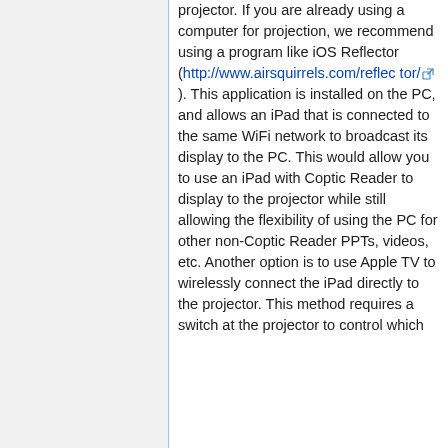projector. If you are already using a computer for projection, we recommend using a program like iOS Reflector (http://www.airsquirrels.com/reflector/). This application is installed on the PC, and allows an iPad that is connected to the same WiFi network to broadcast its display to the PC. This would allow you to use an iPad with Coptic Reader to display to the projector while still allowing the flexibility of using the PC for other non-Coptic Reader PPTs, videos, etc. Another option is to use Apple TV to wirelessly connect the iPad directly to the projector. This method requires a switch at the projector to control which